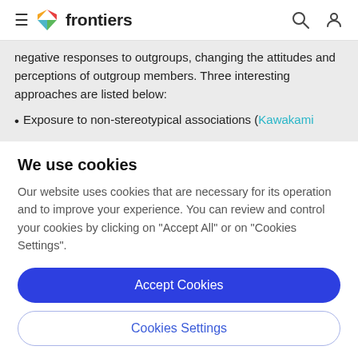frontiers
negative responses to outgroups, changing the attitudes and perceptions of outgroup members. Three interesting approaches are listed below:
Exposure to non-stereotypical associations (Kawakami
We use cookies
Our website uses cookies that are necessary for its operation and to improve your experience. You can review and control your cookies by clicking on "Accept All" or on "Cookies Settings".
Accept Cookies
Cookies Settings